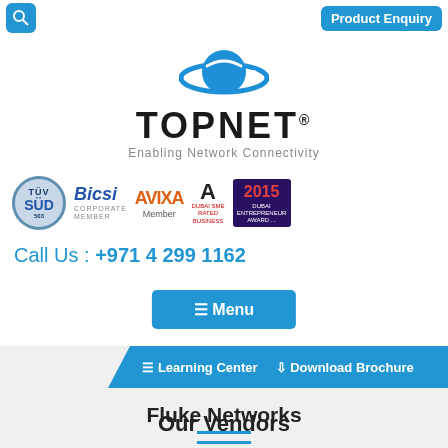Product Enquiry
[Figure (logo): TOPNET logo with saturn-like ring icon and tagline 'Enabling Network Connectivity']
[Figure (other): Certification and membership badges: TUV SUD, BICSI Corporate Member, AVIXA Member, Dubai SME Rated Business A, 2015 award badge]
Call Us : +971 4 299 1162
≡ Menu
Learning Center   Download Brochure
Fluke Networks
Home / Vendors / Fluke Networks
Our Vendors